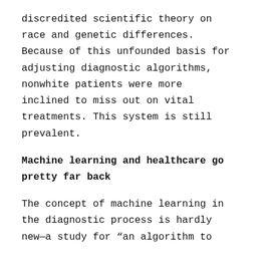discredited scientific theory on race and genetic differences. Because of this unfounded basis for adjusting diagnostic algorithms, nonwhite patients were more inclined to miss out on vital treatments. This system is still prevalent.
Machine learning and healthcare go pretty far back
The concept of machine learning in the diagnostic process is hardly new—a study for "an algorithm to